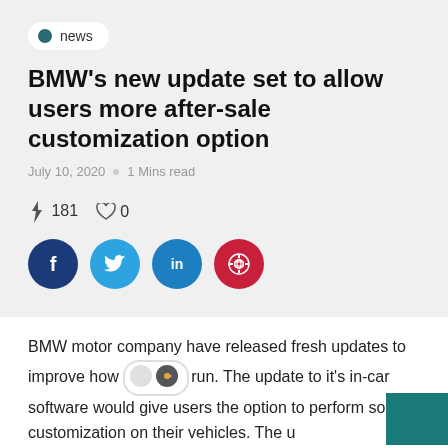news
BMW’s new update set to allow users more after-sale customization option
July 10, 2020 ◦ 1 Mins read
⚡ 181  ♡ 0
[Figure (infographic): Social share buttons: Facebook (dark blue), Twitter (light blue), LinkedIn (blue), Pinterest (red)]
BMW motor company have released fresh updates to improve how t…run. The update to it’s in-car software would give users the option to perform some customization on their vehicles. The u…